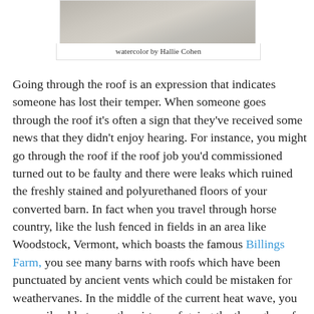[Figure (photo): Partial view of a watercolor painting showing wooden planks or barn floor texture in grey/beige tones]
watercolor by Hallie Cohen
Going through the roof is an expression that indicates someone has lost their temper. When someone goes through the roof it's often a sign that they've received some news that they didn't enjoy hearing. For instance, you might go through the roof if the roof job you'd commissioned turned out to be faulty and there were leaks which ruined the freshly stained and polyurethaned floors of your converted barn. In fact when you travel through horse country, like the lush fenced in fields in an area like Woodstock, Vermont, which boasts the famous Billings Farm, you see many barns with roofs which have been punctuated by ancient vents which could be mistaken for weathervanes. In the middle of the current heat wave, you are easily able to see the virtues of going the through roof as long as it's a thing rather than a